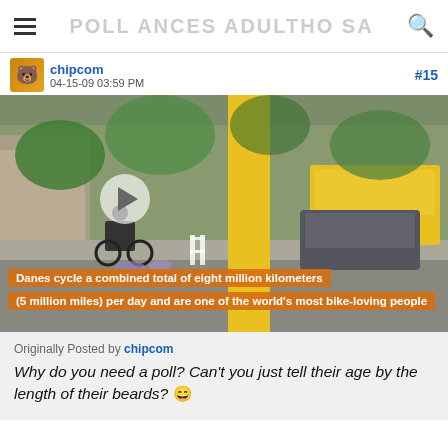POLL ANCES ADULTHO SA
chipcom  04-15-09 03:59 PM  #15
[Figure (screenshot): Video thumbnail of a street scene showing cyclists and a yellow bus. Captions overlay reads: 'Danes cycle a combined total of eight million kilometers' and '(5 million miles) per day and are one of the world’s most bike-loving people']
Originally Posted by chipcom
Why do you need a poll? Can't you just tell their age by the length of their beards? 😄